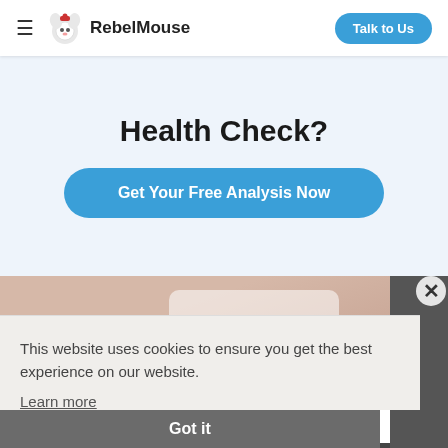RebelMouse — Talk to Us
Health Check?
Get Your Free Analysis Now
[Figure (photo): Partial view of a webpage image strip with pink/beige background and a white card placeholder]
This website uses cookies to ensure you get the best experience on our website.
Learn more
Got it